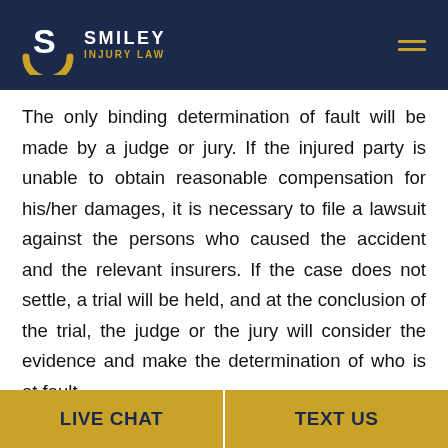Smiley Injury Law
The only binding determination of fault will be made by a judge or jury. If the injured party is unable to obtain reasonable compensation for his/her damages, it is necessary to file a lawsuit against the persons who caused the accident and the relevant insurers. If the case does not settle, a trial will be held, and at the conclusion of the trial, the judge or the jury will consider the evidence and make the determination of who is at fault.
How Is Fault Assigned
LIVE CHAT | TEXT US